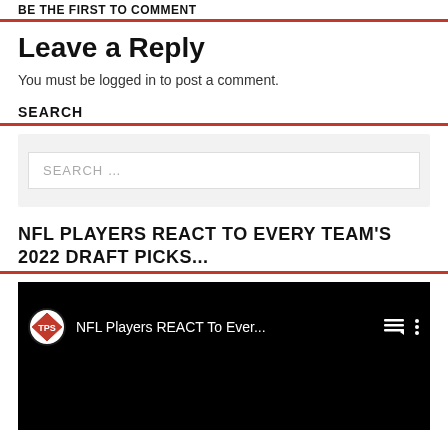BE THE FIRST TO COMMENT
Leave a Reply
You must be logged in to post a comment.
SEARCH
[Figure (screenshot): Search input box with placeholder text SEARCH ...]
NFL PLAYERS REACT TO EVERY TEAM'S 2022 DRAFT PICKS...
[Figure (screenshot): YouTube embedded video player showing TPS channel with title NFL Players REACT To Ever...]